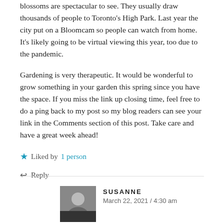blossoms are spectacular to see. They usually draw thousands of people to Toronto's High Park. Last year the city put on a Bloomcam so people can watch from home. It's likely going to be virtual viewing this year, too due to the pandemic.
Gardening is very therapeutic. It would be wonderful to grow something in your garden this spring since you have the space. If you miss the link up closing time, feel free to do a ping back to my post so my blog readers can see your link in the Comments section of this post. Take care and have a great week ahead!
★ Liked by 1 person
↩ Reply
SUSANNE
March 22, 2021 / 4:30 am